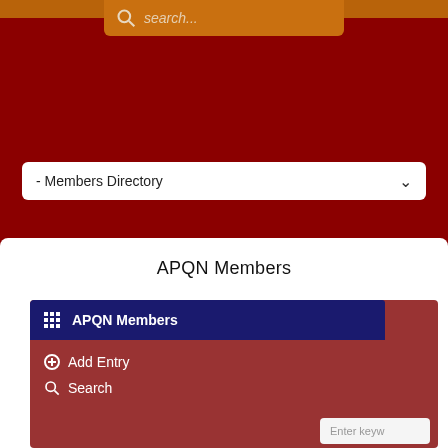search...
- Members Directory
APQN Members
APQN Members
Add Entry
Search
Enter keyw